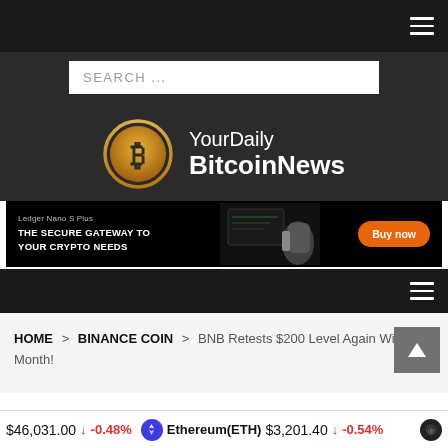[Figure (logo): YourDaily BitcoinNews logo with golden Bitcoin circle icon and white text]
[Figure (infographic): Ledger Nano S Plus advertisement banner: 'THE SECURE GATEWAY TO YOUR CRYPTO NEEDS' with Buy now button]
HOME > BINANCE COIN > BNB Retests $200 Level Again Within a Month!
$46,031.00 ↓ -0.48% Ethereum(ETH) $3,201.40 ↓ -0.54%